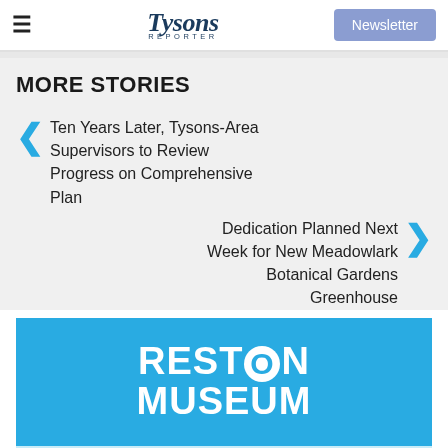Tysons Reporter | Newsletter
MORE STORIES
Ten Years Later, Tysons-Area Supervisors to Review Progress on Comprehensive Plan
Dedication Planned Next Week for New Meadowlark Botanical Gardens Greenhouse
[Figure (logo): Reston Museum logo on cyan/blue background with white bold text reading RESTON MUSEUM, with reflected text below]